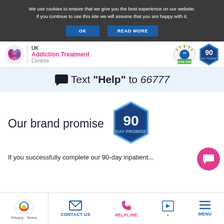We use cookies to ensure that we give you the best experience on our website. If you continue to use this site we will assume that you are happy with it.
OK | READ MORE
[Figure (logo): UK Addiction Treatment Centres logo with pink/purple circular icon]
[Figure (logo): COVID-19 We're Open badge and 90 Day Promise hexagon badge]
Text "Help" to 66777
Our brand promise
[Figure (logo): 90 Day Promise hexagonal badge in blue]
If you successfully complete our 90-day inpatien...
[Figure (other): Pink circular chat widget icon]
[Figure (other): reCAPTCHA widget with Privacy - Terms text]
CONTACT US | HELPLINE | MENU